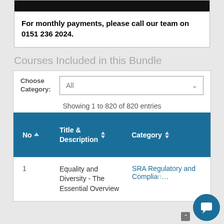For monthly payments, please call our team on 0151 236 2024.
Courses Included in this Bundle
Choose Category: All
Showing 1 to 820 of 820 entries
| No | Title & Description | Category |
| --- | --- | --- |
| 1 | Equality and Diversity - The Essential Overview | SRA Regulatory and Compliance |